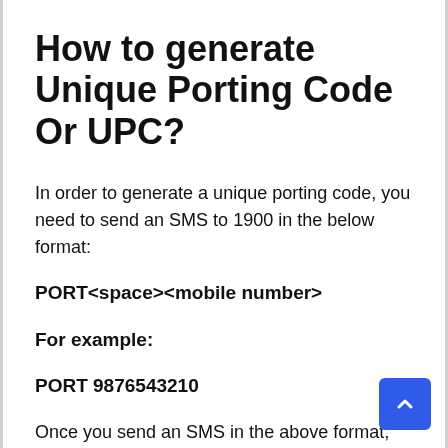How to generate Unique Porting Code Or UPC?
In order to generate a unique porting code, you need to send an SMS to 1900 in the below format:
PORT<space><mobile number>
For example:
PORT 9876543210
Once you send an SMS in the above format, you will get an SMS back on your phone within